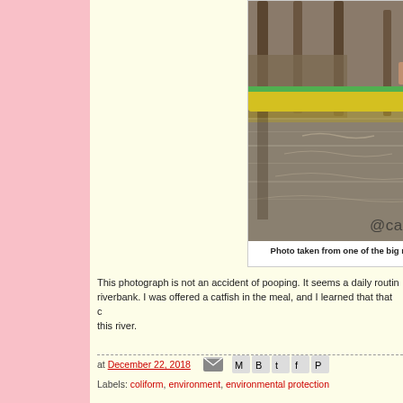[Figure (photo): A child crouching near the edge of a river, next to a yellow boat. Wooden stilts and water visible. Watermark '@carmsc' in bottom right corner.]
Photo taken from one of the big rivers in Mindana
This photograph is not an accident of pooping. It seems a daily routin riverbank. I was offered a catfish in the meal, and I learned that that c this river.
at December 22, 2018
Labels: coliform, environment, environmental protection